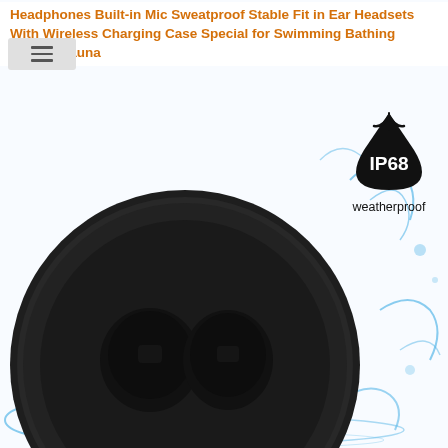Headphones Built-in Mic Sweatproof Stable Fit in Ear Headsets With Wireless Charging Case Special for Swimming Bathing Driving Sauna
[Figure (photo): Black wireless earbuds with charging case open showing two earbuds inside, one earbud removed and placed in front, with water splashes around the product on a white background]
[Figure (infographic): IP68 weatherproof badge: a black water droplet icon with leaf/splash lines, text IP68 in large bold font, and 'weatherproof' below in smaller font]